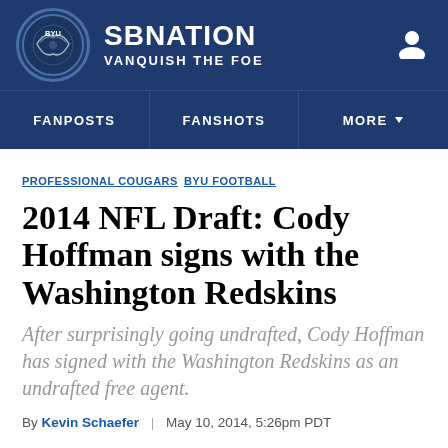SB NATION — VANQUISH THE FOE
FANPOSTS   FANSHOTS   MORE
PROFESSIONAL COUGARS  BYU FOOTBALL
2014 NFL Draft: Cody Hoffman signs with the Washington Redskins
After surprisingly going undrafted, Cody Hoffman has signed with the Washington Redskins as an undrafted free agent.
By Kevin Schaefer | May 10, 2014, 5:26pm PDT
SHARE